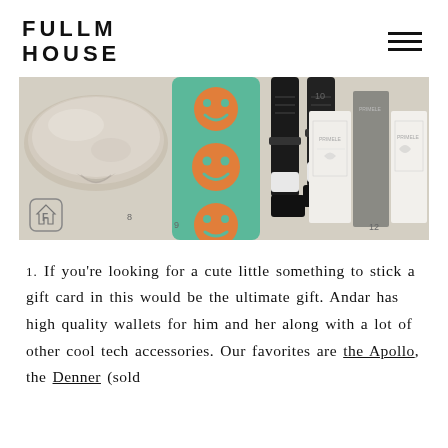FULLM HOUSE
[Figure (photo): Banner image showing a product collage on a beige background. Items numbered 8 (silver pillow), 9 (green and orange smiley face yoga mat), 10 (black boots/sneakers), 12 (white and grey product boxes). Fullm House logo badge in bottom left corner.]
1. If you’re looking for a cute little something to stick a gift card in this would be the ultimate gift. Andar has high quality wallets for him and her along with a lot of other cool tech accessories. Our favorites are the Apollo, the Denner (sold